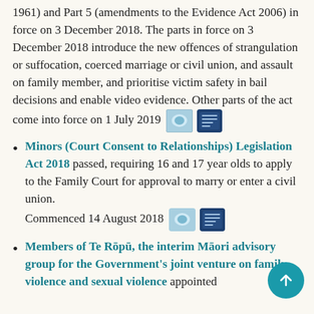1961) and Part 5 (amendments to the Evidence Act 2006) in force on 3 December 2018. The parts in force on 3 December 2018 introduce the new offences of strangulation or suffocation, coerced marriage or civil union, and assault on family member, and prioritise victim safety in bail decisions and enable video evidence. Other parts of the act come into force on 1 July 2019
Minors (Court Consent to Relationships) Legislation Act 2018 passed, requiring 16 and 17 year olds to apply to the Family Court for approval to marry or enter a civil union. Commenced 14 August 2018
Members of Te Rōpū, the interim Māori advisory group for the Government's joint venture on family violence and sexual violence appointed